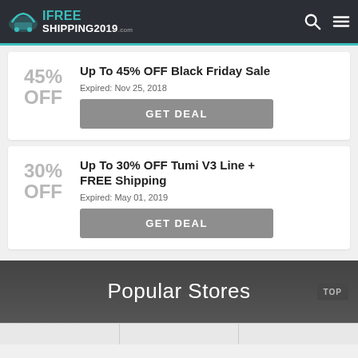IFREESHIPPING2019.com
Up To 45% OFF Black Friday Sale
Expired: Nov 25, 2018
GET DEAL
Up To 30% OFF Tumi V3 Line + FREE Shipping
Expired: May 01, 2019
GET DEAL
Popular Stores